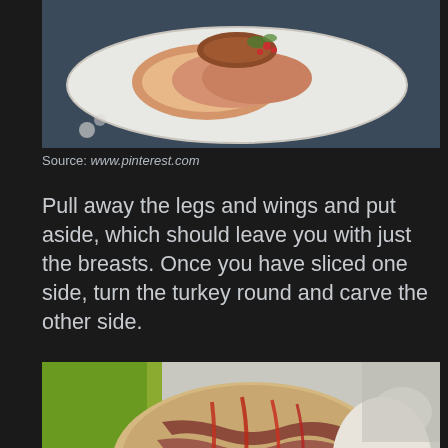[Figure (photo): Sliced roasted turkey breast on a white serving plate, viewed from above, with garnishes on a dark background]
Source: www.pinterest.com
Pull away the legs and wings and put aside, which should leave you with just the breasts. Once you have sliced one side, turn the turkey round and carve the other side.
[Figure (photo): Bacon-wrapped roasted turkey with red glaze/sauce drizzled over it, placed on a cutting board with a green cloth napkin beside it]